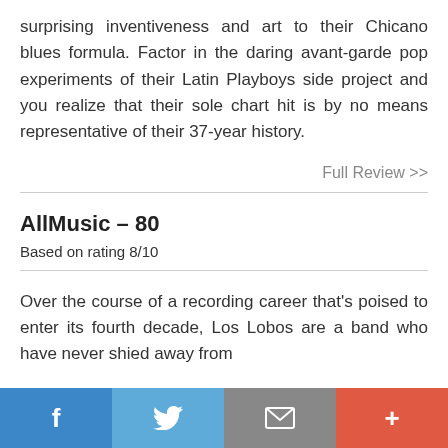surprising inventiveness and art to their Chicano blues formula. Factor in the daring avant-garde pop experiments of their Latin Playboys side project and you realize that their sole chart hit is by no means representative of their 37-year history.
Full Review >>
AllMusic - 80
Based on rating 8/10
Over the course of a recording career that's poised to enter its fourth decade, Los Lobos are a band who have never shied away from
f  [Twitter]  [Mail]  +